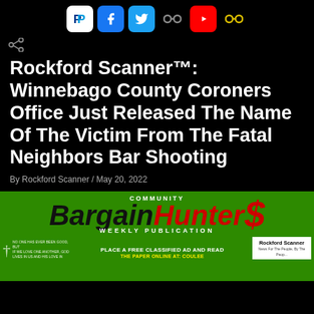Social media icon bar: PayPal, Facebook, Twitter, Link, YouTube, Link
[Figure (screenshot): Share icon (less-than symbol style share button)]
Rockford Scanner™: Winnebago County Coroners Office Just Released The Name Of The Victim From The Fatal Neighbors Bar Shooting
By Rockford Scanner / May 20, 2022
[Figure (illustration): Community Bargain Hunter Weekly Publication advertisement banner on green background with red and black text, dollar sign graphic, cross symbol, and Rockford Scanner badge]